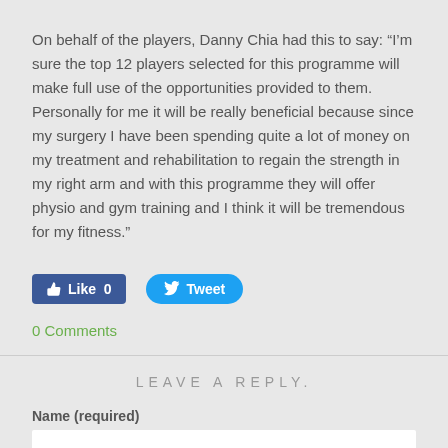On behalf of the players, Danny Chia had this to say: “I’m sure the top 12 players selected for this programme will make full use of the opportunities provided to them. Personally for me it will be really beneficial because since my surgery I have been spending quite a lot of money on my treatment and rehabilitation to regain the strength in my right arm and with this programme they will offer physio and gym training and I think it will be tremendous for my fitness.”
[Figure (other): Facebook Like button showing count 0 and Twitter Tweet button]
0 Comments
LEAVE A REPLY.
Name (required)